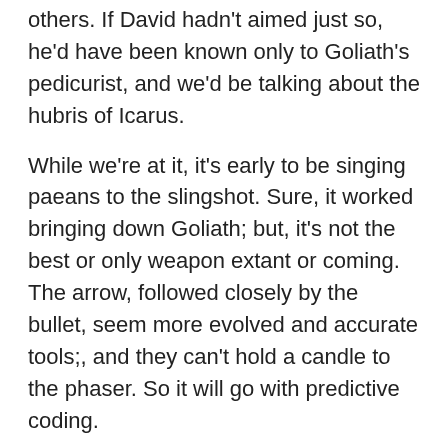others. If David hadn't aimed just so, he'd have been known only to Goliath's pedicurist, and we'd be talking about the hubris of Icarus.
While we're at it, it's early to be singing paeans to the slingshot. Sure, it worked bringing down Goliath; but, it's not the best or only weapon extant or coming. The arrow, followed closely by the bullet, seem more evolved and accurate tools;, and they can't hold a candle to the phaser. So it will go with predictive coding.
Amigo, we do and we teach. That doesn't grab the laurels; but, if we were in this to be rich and famous, we'd make a pact to stop talking about Maura and Jason and start blogging about Beyonce and the Kardashians! Love you, man.